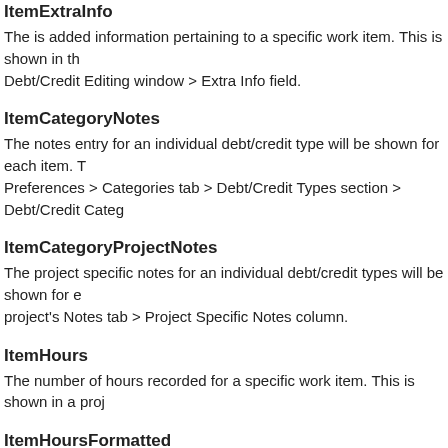ItemExtraInfo
The is added information pertaining to a specific work item. This is shown in the Debt/Credit Editing window > Extra Info field.
ItemCategoryNotes
The notes entry for an individual debt/credit type will be shown for each item. Preferences > Categories tab > Debt/Credit Types section > Debt/Credit Categories...
ItemCategoryProjectNotes
The project specific notes for an individual debt/credit types will be shown for each project's Notes tab > Project Specific Notes column.
ItemHours
The number of hours recorded for a specific work item. This is shown in a project's...
ItemHoursFormatted
The number of hours recorded for a specific work item in the HH:MM:SS (hours) format. This is shown in a project's Work tab.
ItemTimeInMinutes
The number of minutes recorded for a specific work item.